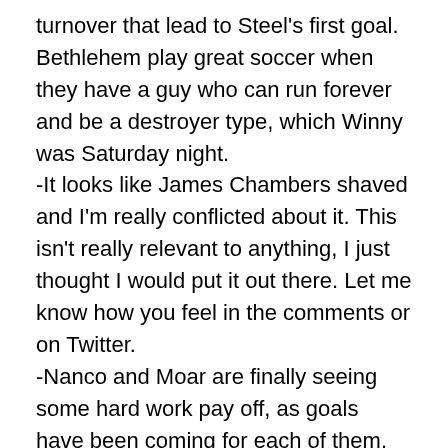turnover that lead to Steel's first goal. Bethlehem play great soccer when they have a guy who can run forever and be a destroyer type, which Winny was Saturday night.
-It looks like James Chambers shaved and I'm really conflicted about it. This isn't really relevant to anything, I just thought I would put it out there. Let me know how you feel in the comments or on Twitter.
-Nanco and Moar are finally seeing some hard work pay off, as goals have been coming for each of them. Great to see them both net one.
Set the Table:
Given where we are in the season and where Steel are in the standings, I figured it would be interesting to break down some scenarios. To make this easier I'm going to post points and games played as GP/P, so for